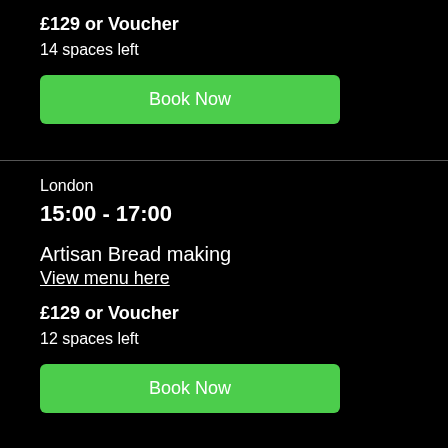£129 or Voucher
14 spaces left
Book Now
London
15:00 - 17:00
Artisan Bread making
View menu here
£129 or Voucher
12 spaces left
Book Now
London
18:00 - 20:00